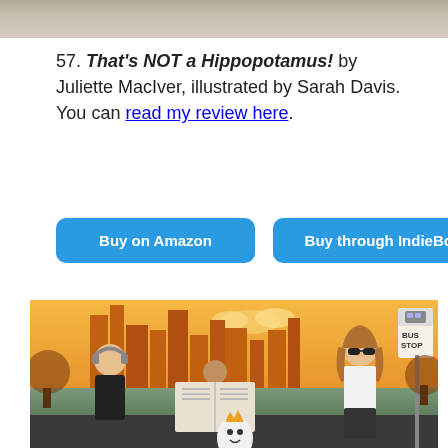[Figure (photo): Gray textured surface at top of page, partial image cropped]
57. That's NOT a Hippopotamus! by Juliette MacIver, illustrated by Sarah Davis. You can read my review here.
[Figure (illustration): Two buttons: 'Buy on Amazon' and 'Buy through IndieBound', both blue with white text and rounded corners]
[Figure (illustration): Book cover illustration showing people at a bus stop in an orange city skyline setting, with a small white ghost-like creature wearing a crown in the foreground]